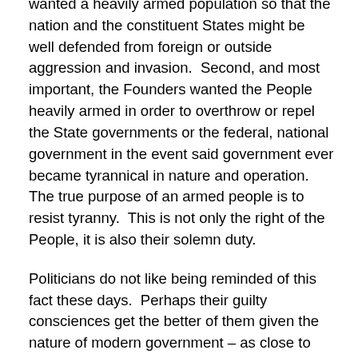wanted a heavily armed population so that the nation and the constituent States might be well defended from foreign or outside aggression and invasion. Second, and most important, the Founders wanted the People heavily armed in order to overthrow or repel the State governments or the federal, national government in the event said government ever became tyrannical in nature and operation. The true purpose of an armed people is to resist tyranny. This is not only the right of the People, it is also their solemn duty.
Politicians do not like being reminded of this fact these days. Perhaps their guilty consciences get the better of them given the nature of modern government – as close to tyrannical as just about any in history. For reasons given herein and, those which I plan to elaborate on in a future column about arms, the ticks have little to fear. As I have